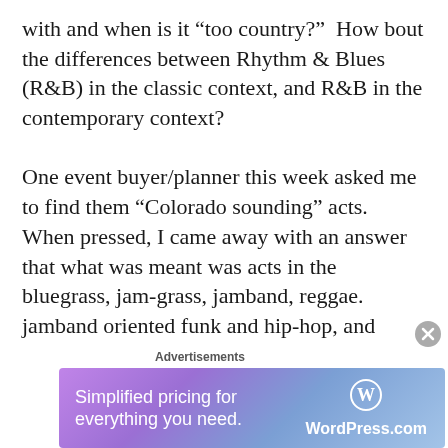with and when is it “too country?”  How bout the differences between Rhythm & Blues (R&B) in the classic context, and R&B in the contemporary context?

One event buyer/planner this week asked me to find them “Colorado sounding” acts.  When pressed, I came away with an answer that what was meant was acts in the bluegrass, jam-grass, jamband, reggae. jamband oriented funk and hip-hop, and “Americana” (read: non Nashville sounding country) styles of music.  At no time was I asked for singer-songwriter, folk,
Advertisements
[Figure (other): WordPress.com advertisement banner with purple-blue gradient background. Text reads: 'Simplified pricing for everything you need.' with WordPress.com logo on the right.]